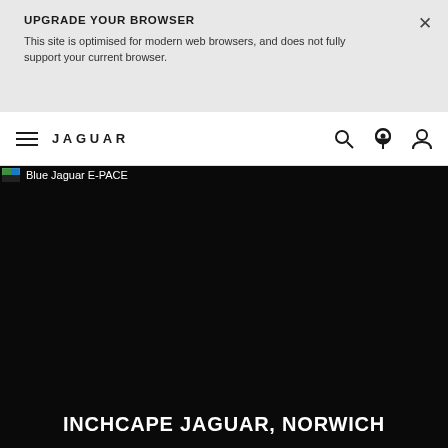UPGRADE YOUR BROWSER
This site is optimised for modern web browsers, and does not fully support your current browser.
[Figure (screenshot): Jaguar website navigation bar with hamburger menu, JAGUAR logo, search icon, location pin icon, and user account icon on white background]
[Figure (photo): Dark/black hero image area with alt text 'Blue Jaguar E-PACE' and a small broken image icon in top-left]
INCHCAPE JAGUAR, NORWICH